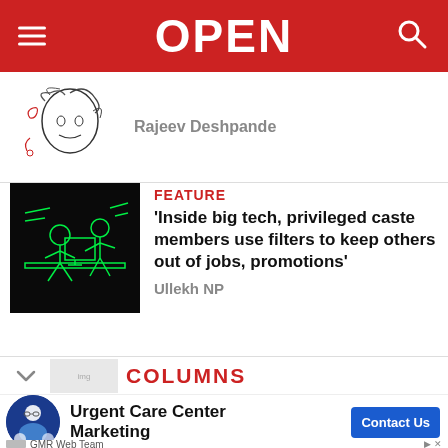OPEN
Rajeev Deshpande
FEATURE
'Inside big tech, privileged caste members use filters to keep others out of jobs, promotions'
Ullekh NP
COLUMNS
Urgent Care Center Marketing
GMR Web Team